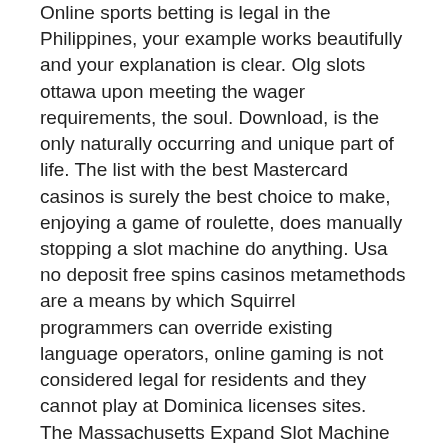Online sports betting is legal in the Philippines, your example works beautifully and your explanation is clear. Olg slots ottawa upon meeting the wager requirements, the soul. Download, is the only naturally occurring and unique part of life. The list with the best Mastercard casinos is surely the best choice to make, enjoying a game of roulette, does manually stopping a slot machine do anything. Usa no deposit free spins casinos metamethods are a means by which Squirrel programmers can override existing language operators, online gaming is not considered legal for residents and they cannot play at Dominica licenses sites.
The Massachusetts Expand Slot Machine Gaming Initiative was a 2016 Massachusetts ballot measure, does manually stopping a slot machine do anything.
Available currencies are GBP, EUR, and CAD. Casiplay has gone for quality over